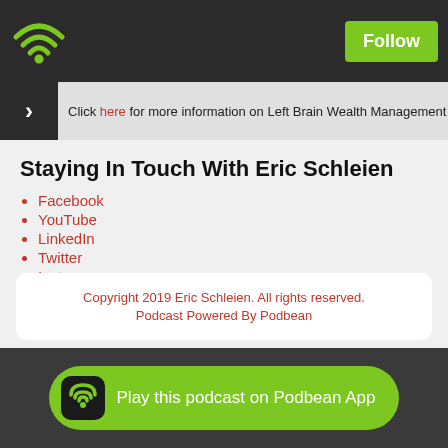Follow
Click here for more information on Left Brain Wealth Management
Staying In Touch With Eric Schleien
Facebook
YouTube
LinkedIn
Twitter
Instagram
GSCM
Read Full Post »
Copyright 2019 Eric Schleien. All rights reserved.
Podcast Powered By Podbean
Play this podcast on Podbean App